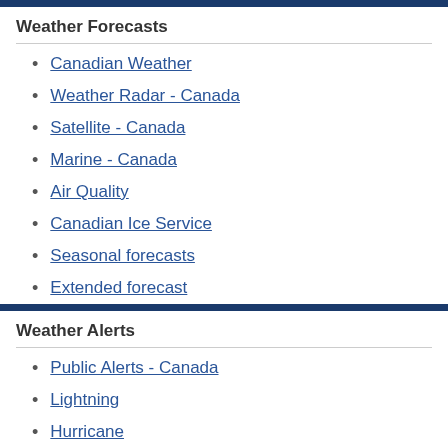Weather Forecasts
Canadian Weather
Weather Radar - Canada
Satellite - Canada
Marine - Canada
Air Quality
Canadian Ice Service
Seasonal forecasts
Extended forecast
Weather Alerts
Public Alerts - Canada
Lightning
Hurricane